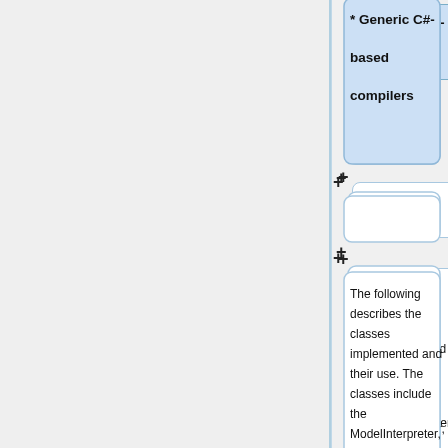[Figure (flowchart): A vertical flowchart showing nodes connected by plus connectors. Nodes include: '* Generic C#-based compilers' (highlighted), an empty node, a text node describing classes (ModelInterpreter, Workspace, Matrix), another empty node, and 'The ModelInterpreter class allows a software' (highlighted bold).]